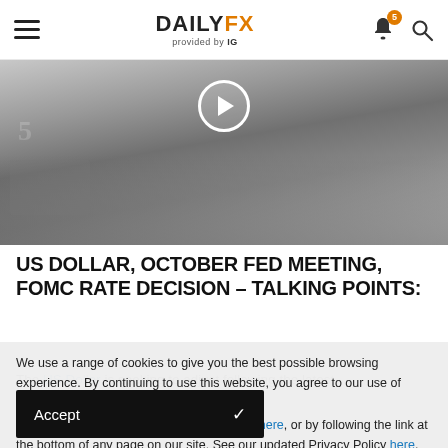DAILYFX provided by IG
[Figure (photo): Blurred photo of US dollar banknotes in grayscale with a play button circle overlay]
US DOLLAR, OCTOBER FED MEETING, FOMC RATE DECISION – TALKING POINTS:
The US Dollar is seeking to adjust following the latest
We use a range of cookies to give you the best possible browsing experience. By continuing to use this website, you agree to our use of cookies.
You can learn more about our cookie policy here, or by following the link at the bottom of any page on our site. See our updated Privacy Policy here.
Accept